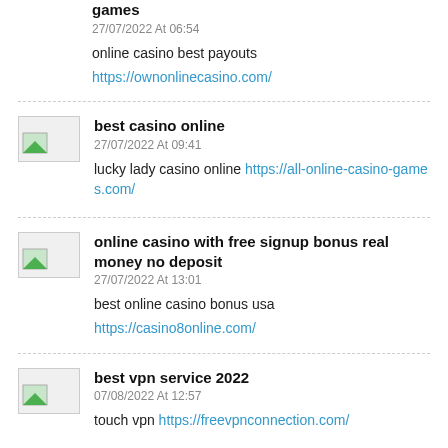games
27/07/2022 At 06:54
online casino best payouts
https://ownonlinecasino.com/
best casino online
27/07/2022 At 09:41
lucky lady casino online https://all-online-casino-games.com/
online casino with free signup bonus real money no deposit
27/07/2022 At 13:01
best online casino bonus usa
https://casino8online.com/
best vpn service 2022
07/08/2022 At 12:57
touch vpn https://freevpnconnection.com/